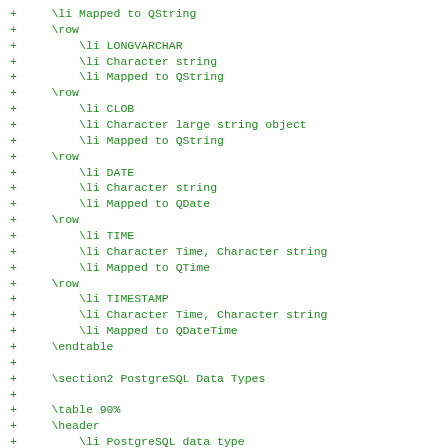+     \li Mapped to QString
+     \row
+         \li LONGVARCHAR
+         \li Character string
+         \li Mapped to QString
+     \row
+         \li CLOB
+         \li Character large string object
+         \li Mapped to QString
+     \row
+         \li DATE
+         \li Character string
+         \li Mapped to QDate
+     \row
+         \li TIME
+         \li Character Time, Character string
+         \li Mapped to QTime
+     \row
+         \li TIMESTAMP
+         \li Character Time, Character string
+         \li Mapped to QDateTime
+     \endtable
+
+     \section2 PostgreSQL Data Types
+
+     \table 90%
+     \header
+         \li PostgreSQL data type
+         \li SQL type description
+         \li Recommended input (C++ or Qt data type